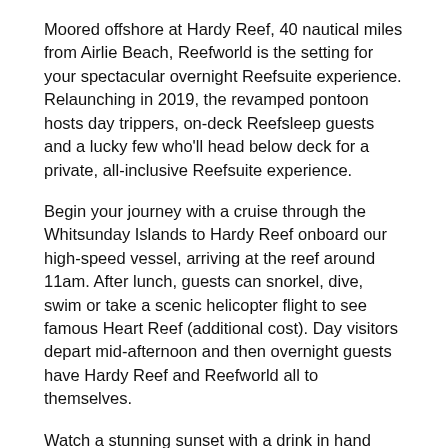Moored offshore at Hardy Reef, 40 nautical miles from Airlie Beach, Reefworld is the setting for your spectacular overnight Reefsuite experience. Relaunching in 2019, the revamped pontoon hosts day trippers, on-deck Reefsleep guests and a lucky few who'll head below deck for a private, all-inclusive Reefsuite experience.
Begin your journey with a cruise through the Whitsunday Islands to Hardy Reef onboard our high-speed vessel, arriving at the reef around 11am. After lunch, guests can snorkel, dive, swim or take a scenic helicopter flight to see famous Heart Reef (additional cost). Day visitors depart mid-afternoon and then overnight guests have Hardy Reef and Reefworld all to themselves.
Watch a stunning sunset with a drink in hand before enjoying a starlit long-table dinner on the pontoon's upper deck. After dinner, Reefsuite guests can retreat to the privacy of their undersea accommodation. Sit back, relax and watch as the reef comes to life through the floor to ceiling windows.